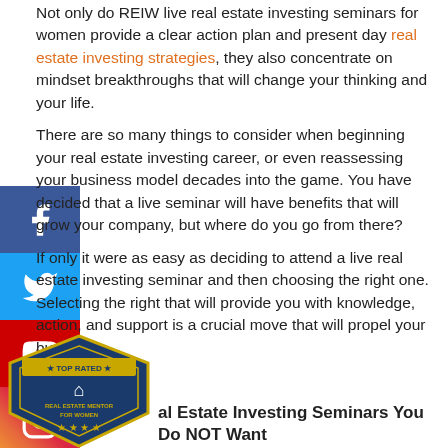Not only do REIW live real estate investing seminars for women provide a clear action plan and present day real estate investing strategies, they also concentrate on mindset breakthroughs that will change your thinking and your life.
There are so many things to consider when beginning your real estate investing career, or even reassessing your business model decades into the game. You have decided that a live seminar will have benefits that will grow your company, but where do you go from there?
If only it were as easy as deciding to attend a live real estate investing seminar and then choosing the right one. Selecting the right that will provide you with knowledge, action, and support is a crucial move that will propel your business.
[Figure (infographic): Social media sidebar with Facebook, Twitter, YouTube, and Instagram buttons stacked vertically on the left side of the page]
[Figure (logo): Top Rated Real Estate Mentor For Women badge/seal at bottom left]
Real Estate Investing Seminars You Do NOT Want